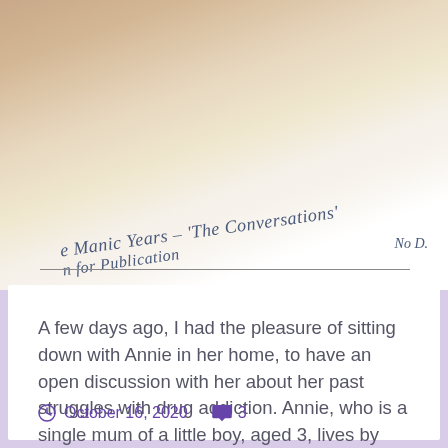[Figure (photo): A close-up photo of a document page with text visible: 'e Manic Years – The Conversations' and 'n for Publication' and 'No D.' on the right side. The document is photographed at an angle on what appears to be a wooden surface, with someone's hand partially visible.]
A few days ago, I had the pleasure of sitting down with Annie in her home, to have an open discussion with her about her past struggles with drug addiction. Annie, who is a single mum of a little boy, aged 3, lives by herself and has volunteered as a mentor for recovering addicts after…
Continue Reading →
October 16, 2020   3